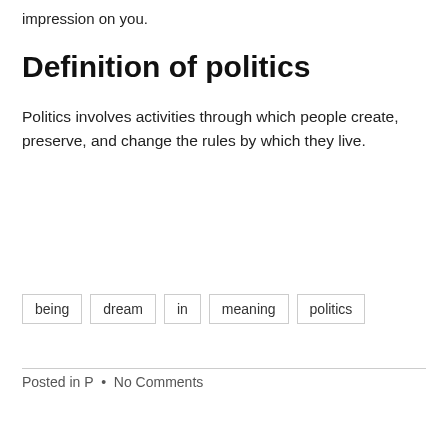impression on you.
Definition of politics
Politics involves activities through which people create, preserve, and change the rules by which they live.
being
dream
in
meaning
politics
Posted in P • No Comments